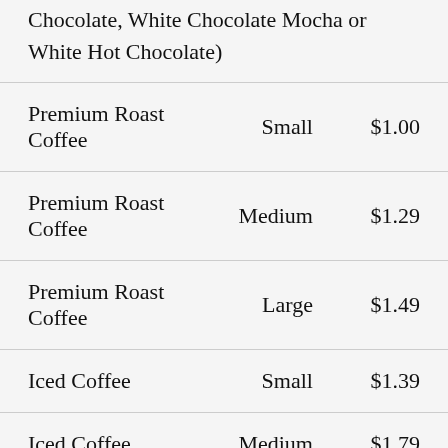| Item | Size | Price |
| --- | --- | --- |
| Chocolate, White Chocolate Mocha or White Hot Chocolate) |  |  |
| Premium Roast Coffee | Small | $1.00 |
| Premium Roast Coffee | Medium | $1.29 |
| Premium Roast Coffee | Large | $1.49 |
| Iced Coffee | Small | $1.39 |
| Iced Coffee | Medium | $1.79 |
| Iced Coffee | Large | $1.99 |